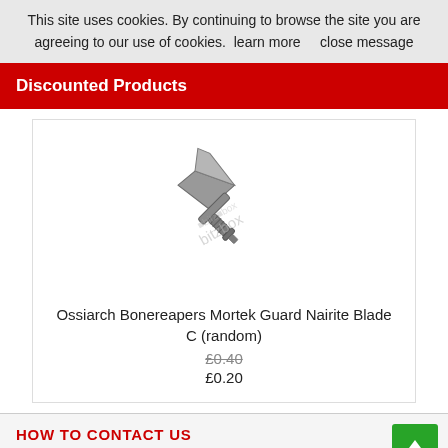This site uses cookies. By continuing to browse the site you are agreeing to our use of cookies.  learn more      close message
Discounted Products
[Figure (photo): Black and white image of a miniature Ossiarch Bonereapers Mortek Guard Nairite Blade C weapon piece with bitzbox watermark]
Ossiarch Bonereapers Mortek Guard Nairite Blade C (random)
£0.40
£0.20
HOW TO CONTACT US
Bitzbox - Warhammer Age of Sigmar and 40K Plastic & Resin Bits